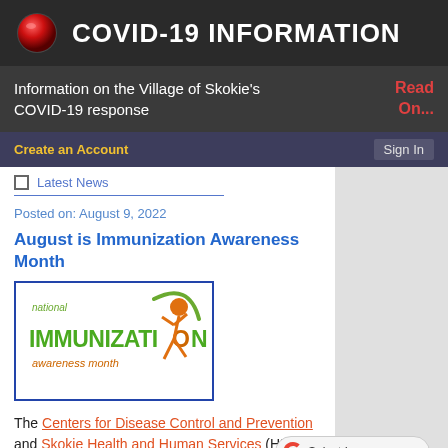COVID-19 INFORMATION
Information on the Village of Skokie's COVID-19 response
Read On...
Create an Account
Sign In
Latest News
Posted on: August 9, 2022
August is Immunization Awareness Month
[Figure (logo): National Immunization Awareness Month logo with orange figure and green/orange text]
The Centers for Disease Control and Prevention and Skokie Health and Human Services (HHS) are